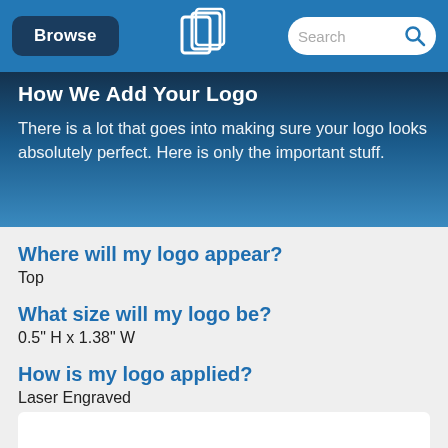Browse | [Logo] | Search
How We Add Your Logo
There is a lot that goes into making sure your logo looks absolutely perfect. Here is only the important stuff.
Where will my logo appear?
Top
What size will my logo be?
0.5" H x 1.38" W
How is my logo applied?
Laser Engraved